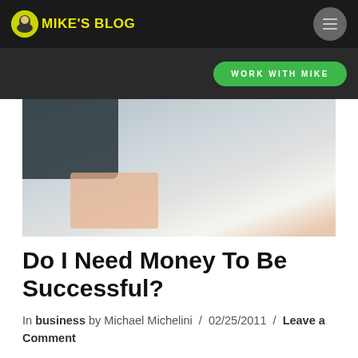MIKE'S BLOG
WORK WITH MIKE
[Figure (photo): Blurred photo of a dark notebook and a pink/beige card on a light blue surface]
Do I Need Money To Be Successful?
In business by Michael Michelini / 02/25/2011 / Leave a Comment
Is Money Really Everything? Its kind of a second